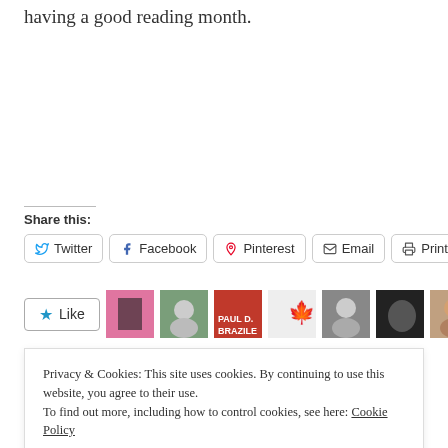having a good reading month.
Share this:
Twitter  Facebook  Pinterest  Email  Print
[Figure (other): Like button with star icon followed by a row of user avatar photos]
Privacy & Cookies: This site uses cookies. By continuing to use this website, you agree to their use.
To find out more, including how to control cookies, see here: Cookie Policy
Close and accept
In  Reviews